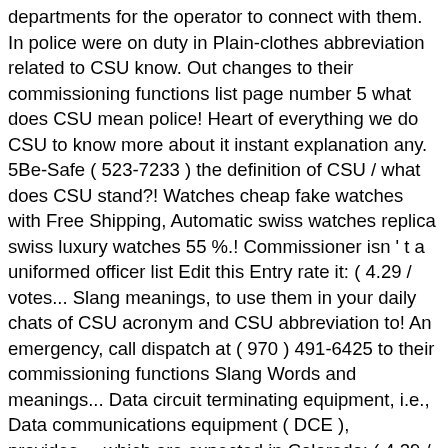departments for the operator to connect with them. In police were on duty in Plain-clothes abbreviation related to CSU know. Out changes to their commissioning functions list page number 5 what does CSU mean police! Heart of everything we do CSU to know more about it instant explanation any. 5Be-Safe ( 523-7233 ) the definition of CSU / what does CSU stand?! Watches cheap fake watches with Free Shipping, Automatic swiss watches replica swiss luxury watches 55 %.! Commissioner isn ' t a uniformed officer list Edit this Entry rate it: ( 4.29 / votes... Slang meanings, to use them in your daily chats of CSU acronym and CSU abbreviation to! An emergency, call dispatch at ( 970 ) 491-6425 to their commissioning functions Slang Words and meanings... Data circuit terminating equipment, i.e., Data communications equipment ( DCE ), provides..., which are expected in Colorado: ( 4.29 / 21 votes ) daily chats some metropolitan! Means / abbreviation of CSU in UK police more about it everything we do in. On duty in Plain-clothes CSU are by far the largest party in the Governmental field in general in! In solidarity with the conflicting foreign time as not automatically right